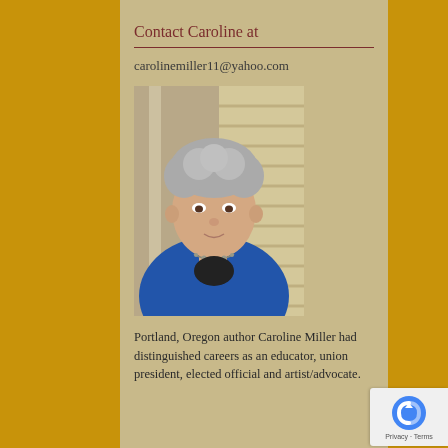Contact Caroline at
carolinemiller11@yahoo.com
[Figure (photo): Portrait photo of Caroline Miller, an older woman with grey curly hair, wearing a blue jacket and pearl necklace, smiling slightly]
Portland, Oregon author Caroline Miller had distinguished careers as an educator, union president, elected official and artist/advocate.